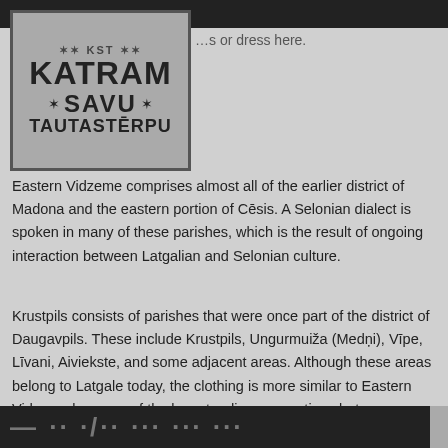[Figure (logo): KST Katram Savu Tautastērpu logo with decorative star symbols on grey background with border]
…s or dress here.
Eastern Vidzeme comprises almost all of the earlier district of Madona and the eastern portion of Cēsis. A Selonian dialect is spoken in many of these parishes, which is the result of ongoing interaction between Latgalian and Selonian culture.
Krustpils consists of parishes that were once part of the district of Daugavpils. These include Krustpils, Ungurmuiža (Medņi), Vīpe, Līvani, Aiviekste, and some adjacent areas. Although these areas belong to Latgale today, the clothing is more similar to Eastern Vidzeme because of the longstanding connections between Latgalian and Selonian culture.  They are therefore considered part of the Vidzeme tradition.